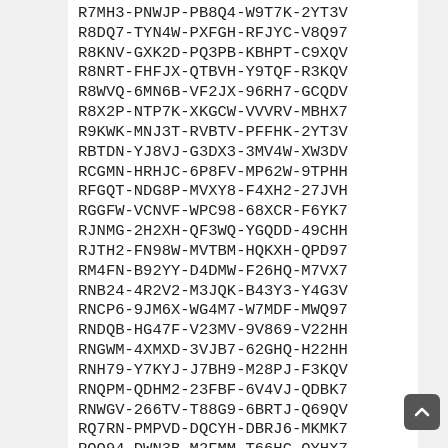R7MH3-PNWJP-PB8Q4-W9T7K-2YT3V
R8DQ7-TYN4W-PXFGH-RFJYC-V8Q97
R8KNV-GXK2D-PQ3PB-KBHPT-C9XQV
R8NRT-FHFJX-QTBVH-Y9TQF-R3KQV
R8WVQ-6MN6B-VF2JX-96RH7-GCQDV
R8X2P-NTP7K-XKGCW-VVVRV-MBHX7
R9KWK-MNJ3T-RVBTV-PFFHK-2YT3V
RBTDN-YJ8VJ-G3DX3-3MV4W-XW3DV
RCGMN-HRHJC-6P8FV-MP62W-9TPHH
RFGQT-NDG8P-MVXY8-F4XH2-27JVH
RGGFW-VCNVF-WPC98-68XCR-F6YK7
RJNMG-2H2XH-QF3WQ-YGQDD-49CHH
RJTH2-FN98W-MVTBM-HQKXH-QPD97
RM4FN-B92YY-D4DMW-F26HQ-M7VX7
RNB24-4R2V2-M3JQK-B43Y3-Y4G3V
RNCP6-9JM6X-WG4M7-W7MDF-MWQ97
RNDQB-HG47F-V23MV-9V869-V22HH
RNGWM-4XMXD-3VJB7-62GHQ-H22HH
RNH79-Y7KYJ-J7BH9-M28PJ-F3KQV
RNQPM-QDHM2-23FBF-6V4VJ-QDBK7
RNWGV-266TV-T88G9-6BRTJ-Q69QV
RQ7RN-PMPVD-DQCYH-DBRJ6-MKMK7
RQQ94-DWN3B-M2FMM-T66HG-QYHX7